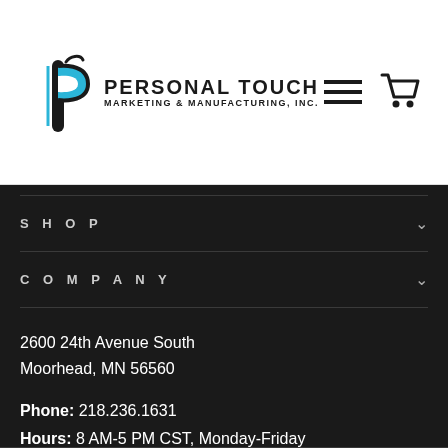[Figure (logo): Personal Touch Marketing & Manufacturing, Inc. logo with stylized P letter in blue and black]
[Figure (other): Hamburger menu icon and shopping cart icon in top right header]
SHOP
COMPANY
2600 24th Avenue South
Moorhead, MN 56560
Phone: 218.236.1631
Hours: 8 AM-5 PM CST, Monday-Friday